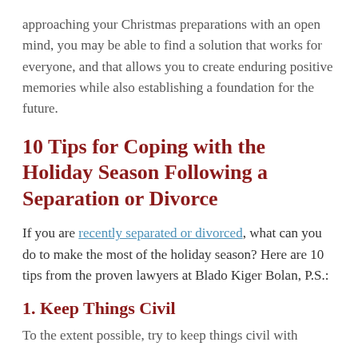approaching your Christmas preparations with an open mind, you may be able to find a solution that works for everyone, and that allows you to create enduring positive memories while also establishing a foundation for the future.
10 Tips for Coping with the Holiday Season Following a Separation or Divorce
If you are recently separated or divorced, what can you do to make the most of the holiday season? Here are 10 tips from the proven lawyers at Blado Kiger Bolan, P.S.:
1. Keep Things Civil
To the extent possible, try to keep things civil with